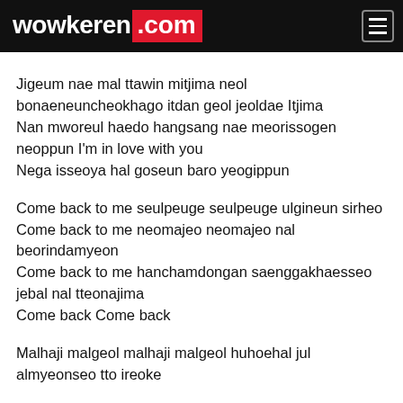wowkeren.com
Jigeum nae mal ttawin mitjima neol bonaeneuncheokhago itdan geol jeoldae Itjima
Nan mworeul haedo hangsang nae meorissogen neoppun I'm in love with you
Nega isseoya hal goseun baro yeogippun
Come back to me seulpeuge seulpeuge ulgineun sirheo
Come back to me neomajeo neomajeo nal beorindamyeon
Come back to me hanchamdongan saenggakhaesseo jebal nal tteonajima
Come back Come back
Malhaji malgeol malhaji malgeol huhoehal jul almyeonseo tto ireoke